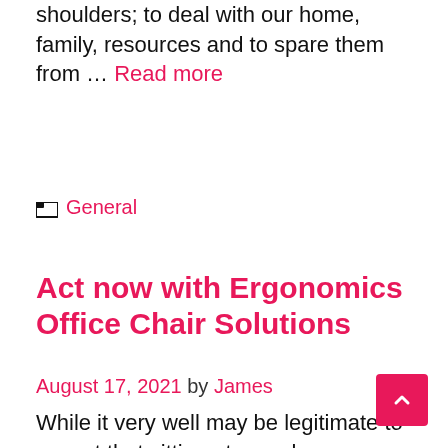shoulders; to deal with our home, family, resources and to spare them from … Read more
General
Act now with Ergonomics Office Chair Solutions
August 17, 2021 by James
While it very well may be legitimate to accept that sitting at a work area or PC the entire day is less genuinely requesting work than stacking trucks or bunches of roughage, the